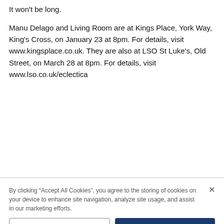It won't be long.
Manu Delago and Living Room are at Kings Place, York Way, King's Cross, on January 23 at 8pm. For details, visit www.kingsplace.co.uk. They are also at LSO St Luke's, Old Street, on March 28 at 8pm. For details, visit www.lso.co.uk/eclectica
By clicking “Accept All Cookies”, you agree to the storing of cookies on your device to enhance site navigation, analyze site usage, and assist in our marketing efforts.